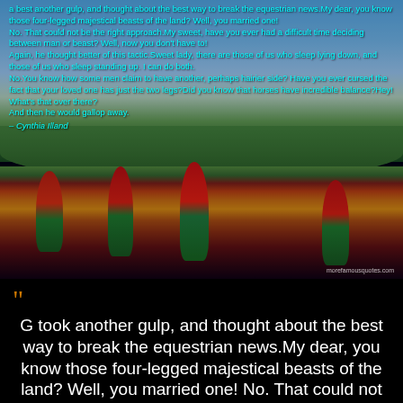[Figure (photo): A scenic photo with a blue sky and clouds in the upper portion, a green hillside in the middle, and colorful red and yellow tulips in the foreground. Overlaid with cyan-colored text containing a humorous quote about equestrian news, four-legged beasts, horses, and marriage. Attribution to Cynthia Illand. Watermark: morefamousquotes.com]
G took another gulp, and thought about the best way to break the equestrian news.My dear, you know those four-legged majestical beasts of the land? Well, you married one! No. That could not be the right approach.My sweet, have you ever had a difficult time deciding between man or beast? Well, now you don't have to! Again, he thought better of this tactic.Sweet lady, there are those of us who sleep lying down, and those of us who sleep standing up. I can do both. No.You know how some men claim to have another, perhaps hairier side? Have you ever cursed the fact that your loved one has just the two legs?Did you know that horses have incredible balance?Hey! What's that over there? And then he would gallop away. – Cynthia Illand